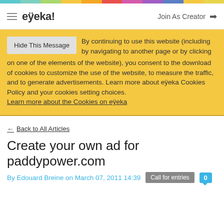eÿeka! | Join As Creator
By continuing to use this website (including by navigating to another page or by clicking on one of the elements of the website), you consent to the download of cookies to customize the use of the website, to measure the traffic, and to generate advertisements. Learn more about eÿeka Cookies Policy and your cookies setting choices. Learn more about the Cookies on eÿeka
← Back to All Articles
Create your own ad for paddypower.com
By Edouard Breine on March 07, 2011 14:39    Call for entries    0